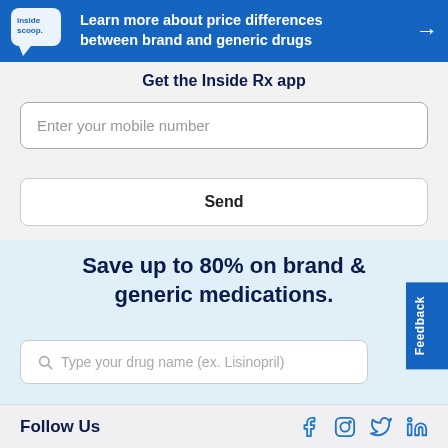[Figure (illustration): Blue banner with inside scoop speech bubble logo and text 'Learn more about price differences between brand and generic drugs' with right arrow]
Get the Inside Rx app
Enter your mobile number
Send
Save up to 80% on brand & generic medications.
Type your drug name (ex. Lisinopril)
Feedback
Follow Us